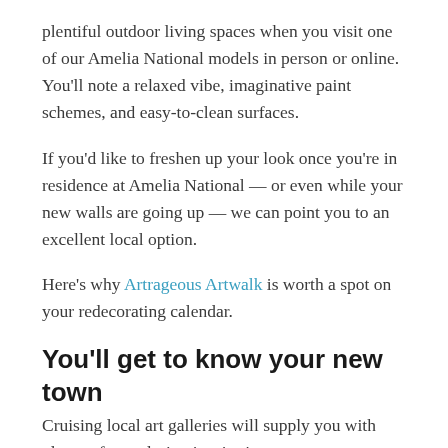plentiful outdoor living spaces when you visit one of our Amelia National models in person or online. You'll note a relaxed vibe, imaginative paint schemes, and easy-to-clean surfaces.
If you'd like to freshen up your look once you're in residence at Amelia National — or even while your new walls are going up — we can point you to an excellent local option.
Here's why Artrageous Artwalk is worth a spot on your redecorating calendar.
You'll get to know your new town
Cruising local art galleries will supply you with plenty of new design inspiration.